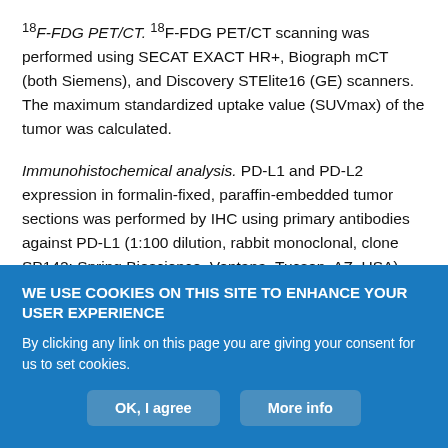18F-FDG PET/CT. 18F-FDG PET/CT scanning was performed using SECAT EXACT HR+, Biograph mCT (both Siemens), and Discovery STElite16 (GE) scanners. The maximum standardized uptake value (SUVmax) of the tumor was calculated.
Immunohistochemical analysis. PD-L1 and PD-L2 expression in formalin-fixed, paraffin-embedded tumor sections was performed by IHC using primary antibodies against PD-L1 (1:100 dilution, rabbit monoclonal, clone SP142; Spring Bioscience, Ventana, Tucson, AZ, USA) and PD-L2 (1:200 dilution, mouse monoclonal, clone 176611; R&D Systems, Minneapolis, MN, USA). For PD-L1, staining was
WE USE COOKIES ON THIS SITE TO ENHANCE YOUR USER EXPERIENCE
By clicking any link on this page you are giving your consent for us to set cookies.